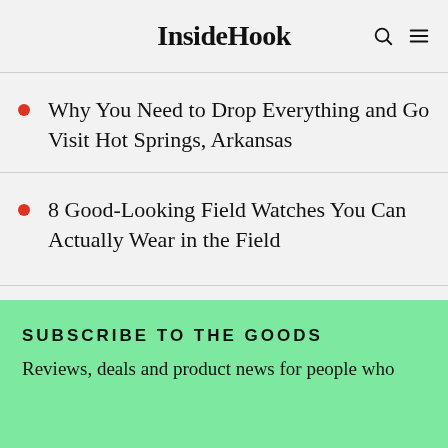InsideHook
Why You Need to Drop Everything and Go Visit Hot Springs, Arkansas
8 Good-Looking Field Watches You Can Actually Wear in the Field
SUBSCRIBE TO THE GOODS
Reviews, deals and product news for people who